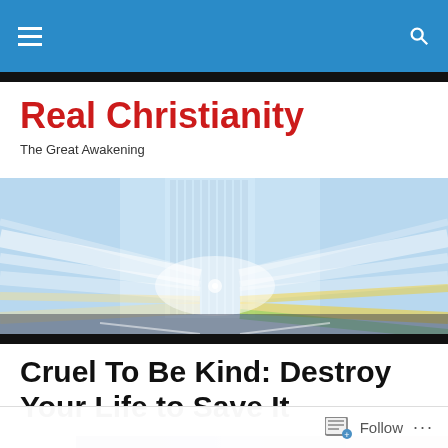Navigation bar with menu and search icons
Real Christianity
The Great Awakening
[Figure (photo): Abstract city scene with motion blur light streaks and a tall glass skyscraper, blue and yellow tones]
Cruel To Be Kind: Destroy Your Life to Save It
[Figure (photo): Partial view of an article thumbnail image, blue-purple tones]
Follow  ...